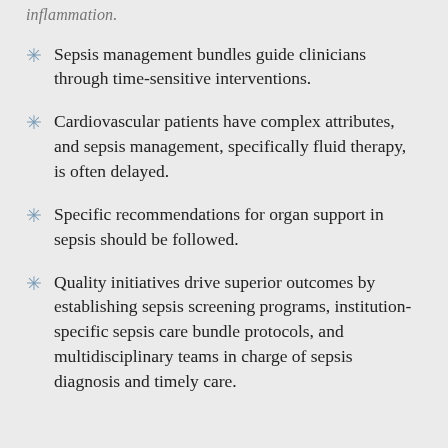inflammation.
Sepsis management bundles guide clinicians through time-sensitive interventions.
Cardiovascular patients have complex attributes, and sepsis management, specifically fluid therapy, is often delayed.
Specific recommendations for organ support in sepsis should be followed.
Quality initiatives drive superior outcomes by establishing sepsis screening programs, institution-specific sepsis care bundle protocols, and multidisciplinary teams in charge of sepsis diagnosis and timely care.